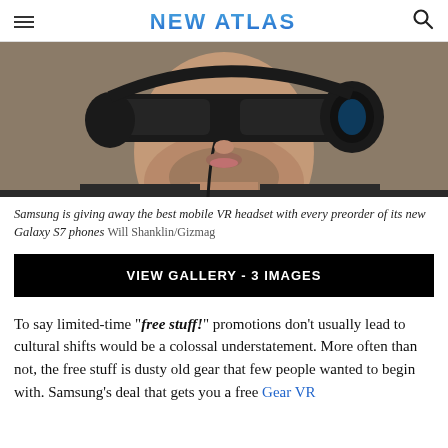NEW ATLAS
[Figure (photo): Close-up of a man wearing a VR headset and headphones, looking upward, with a dark jacket and goatee beard.]
Samsung is giving away the best mobile VR headset with every preorder of its new Galaxy S7 phones  Will Shanklin/Gizmag
VIEW GALLERY - 3 IMAGES
To say limited-time "free stuff!" promotions don't usually lead to cultural shifts would be a colossal understatement. More often than not, the free stuff is dusty old gear that few people wanted to begin with. Samsung's deal that gets you a free Gear VR